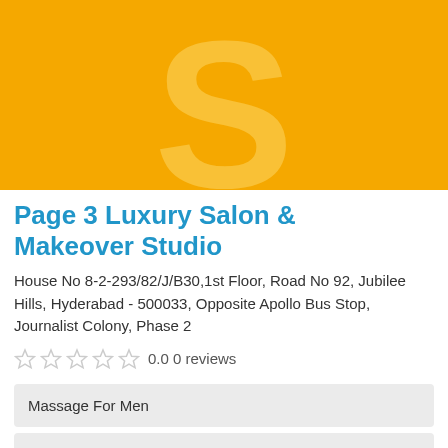[Figure (illustration): Yellow/orange background logo image with a large pale 'S' letter watermark in the center]
Page 3 Luxury Salon & Makeover Studio
House No 8-2-293/82/J/B30,1st Floor, Road No 92, Jubilee Hills, Hyderabad - 500033, Opposite Apollo Bus Stop, Journalist Colony, Phase 2
0.0 0 reviews
Massage For Men
Massage For Women